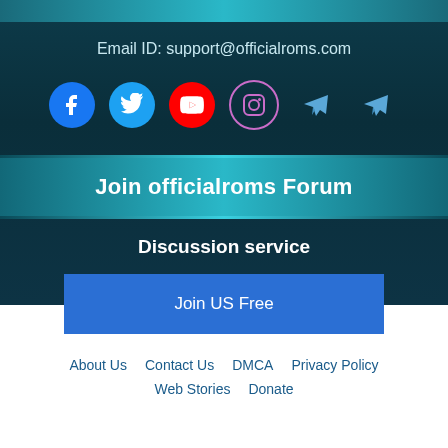Email ID: support@officialroms.com
[Figure (infographic): Social media icons: Facebook, Twitter, YouTube, Instagram, Telegram (x2)]
Join officialroms Forum
Discussion service
Join US Free
About Us  Contact Us  DMCA  Privacy Policy  Web Stories  Donate